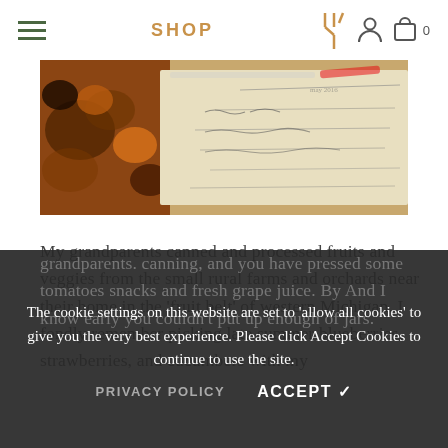SHOP
[Figure (photo): Photo showing handwritten recipe/notes on aged paper with fruit and produce visible in the background]
My grandparents canned and processed fruits and veggies from the small rural farms and orchards near their home in the 'fruit belt' of western Michigan. I fondly remember picking late summer blueberries, strawberries, and cucumbers with my grandparents. You've probably pressed some tomatoes, canning, and you have probably sipped some summer snacks and fresh made grape juice. And I know early you couldn't put up enough jars of jars.
The cookie settings on this website are set to 'allow all cookies' to give you the very best experience. Please click Accept Cookies to continue to use the site.
PRIVACY POLICY    ACCEPT ✓